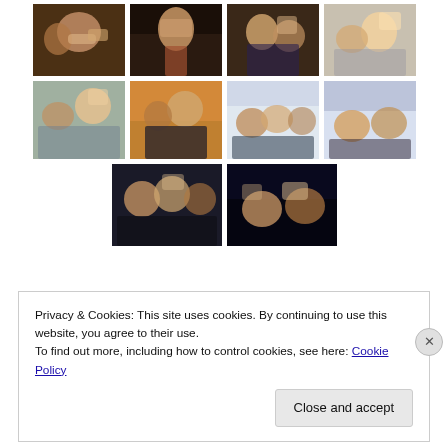[Figure (photo): Grid of 10 group photos showing people making hand gestures, arranged in 3 rows: 4 photos, 4 photos, 2 photos]
Privacy & Cookies: This site uses cookies. By continuing to use this website, you agree to their use.
To find out more, including how to control cookies, see here: Cookie Policy
Close and accept